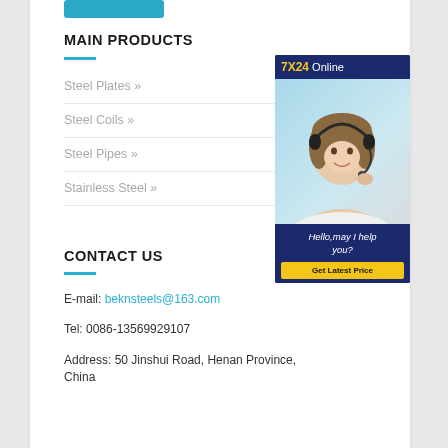MAIN PRODUCTS
Steel Plates »
Steel Coils »
Steel Pipes »
Stainless Steel »
[Figure (photo): Customer service representative wearing headset, smiling. Banner reads '7X24 Online', message 'Hello,may I help you?', button 'Get Latest Price']
CONTACT US
E-mail: beknsteels@163.com
Tel: 0086-13569929107
Address: 50 Jinshui Road, Henan Province, China